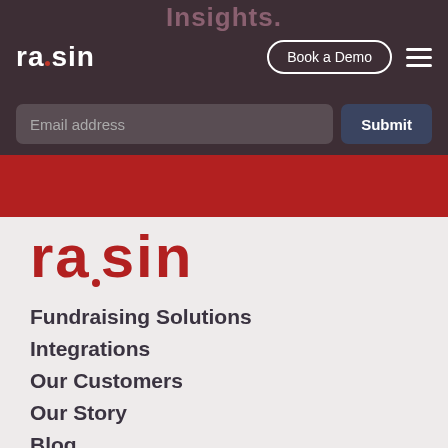insights.
[Figure (screenshot): Raisin website navigation bar with white 'raisin' logo, 'Book a Demo' button, and hamburger menu icon on dark purple background. Below is an email input field and Submit button. A red bar spans below the nav.]
raisin
Fundraising Solutions
Integrations
Our Customers
Our Story
Blog
Careers